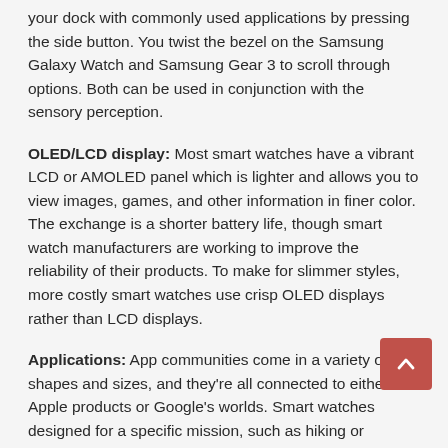your dock with commonly used applications by pressing the side button. You twist the bezel on the Samsung Galaxy Watch and Samsung Gear 3 to scroll through options. Both can be used in conjunction with the sensory perception.
OLED/LCD display: Most smart watches have a vibrant LCD or AMOLED panel which is lighter and allows you to view images, games, and other information in finer color. The exchange is a shorter battery life, though smart watch manufacturers are working to improve the reliability of their products. To make for slimmer styles, more costly smart watches use crisp OLED displays rather than LCD displays.
Applications: App communities come in a variety of shapes and sizes, and they're all connected to either Apple products or Google's worlds. Smart watches designed for a specific mission, such as hiking or swimming, usually only support the software required to complete the task, with no option to include additional apps.